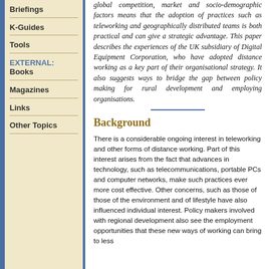Briefings
K-Guides
Tools
EXTERNAL: Books
Magazines
Links
Other Topics
global competition, market and socio-demographic factors means that the adoption of practices such as teleworking and geographically distributed teams is both practical and can give a strategic advantage. This paper describes the experiences of the UK subsidiary of Digital Equipment Corporation, who have adopted distance working as a key part of their organisational strategy. It also suggests ways to bridge the gap between policy making for rural development and employing organisations.
Background
There is a considerable ongoing interest in teleworking and other forms of distance working. Part of this interest arises from the fact that advances in technology, such as telecommunications, portable PCs and computer networks, make such practices ever more cost effective. Other concerns, such as those of those of the environment and of lifestyle have also influenced individual interest. Policy makers involved with regional development also see the employment opportunities that these new ways of working can bring to less